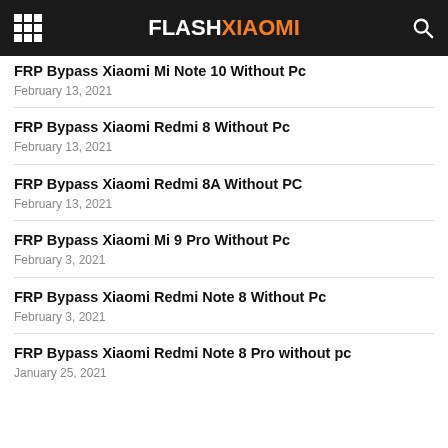FLASHXIAOMI
FRP Bypass Xiaomi Mi Note 10 Without Pc
February 13, 2021
FRP Bypass Xiaomi Redmi 8 Without Pc
February 13, 2021
FRP Bypass Xiaomi Redmi 8A Without PC
February 13, 2021
FRP Bypass Xiaomi Mi 9 Pro Without Pc
February 3, 2021
FRP Bypass Xiaomi Redmi Note 8 Without Pc
February 3, 2021
FRP Bypass Xiaomi Redmi Note 8 Pro without pc
January 25, 2021